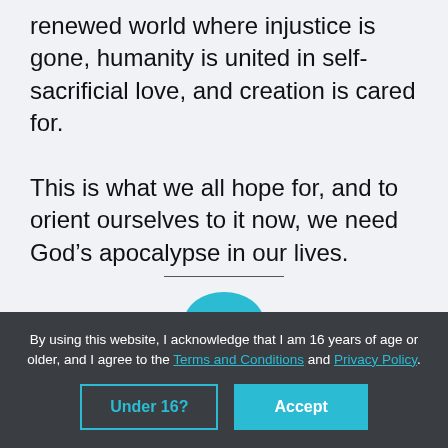renewed world where injustice is gone, humanity is united in self-sacrificial love, and creation is cared for.

This is what we all hope for, and to orient ourselves to it now, we need God’s apocalypse in our lives.
By using this website, I acknowledge that I am 16 years of age or older, and I agree to the Terms and Conditions and Privacy Policy.